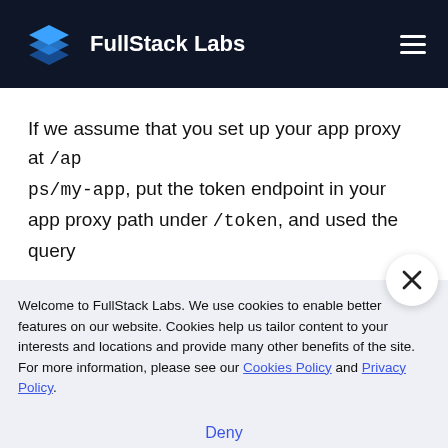FullStack Labs
If we assume that you set up your app proxy at /apps/my-app, put the token endpoint in your app proxy path under /token, and used the query
Welcome to FullStack Labs. We use cookies to enable better features on our website. Cookies help us tailor content to your interests and locations and provide many other benefits of the site. For more information, please see our Cookies Policy and Privacy Policy.
Accept
Deny